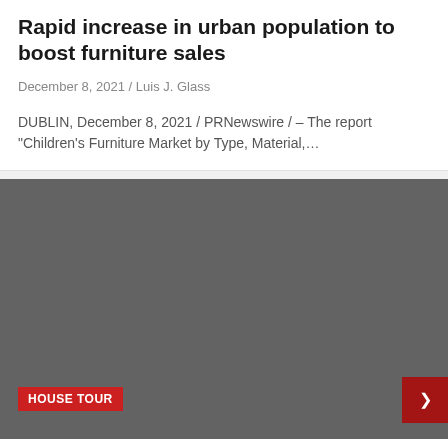Rapid increase in urban population to boost furniture sales
December 8, 2021 / Luis J. Glass
DUBLIN, December 8, 2021 / PRNewswire / – The report “Children’s Furniture Market by Type, Material,…
[Figure (photo): Dark grey placeholder image for house tour article with a red HOUSE TOUR badge in the lower left and a dark red navigation arrow button in the lower right]
NOTL Bakery sets the bar high for Holiday House Tour